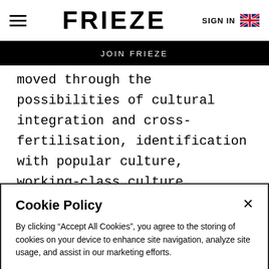FRIEZE | SIGN IN
JOIN FRIEZE
moved through the possibilities of cultural integration and cross-fertilisation, identification with popular culture, working-class culture, nationalism, internationalism, all intertwined with the most sensitive of nerve endings. How can white boys from
Cookie Policy
By clicking “Accept All Cookies”, you agree to the storing of cookies on your device to enhance site navigation, analyze site usage, and assist in our marketing efforts.
Cookies Settings | Accept All Cookies